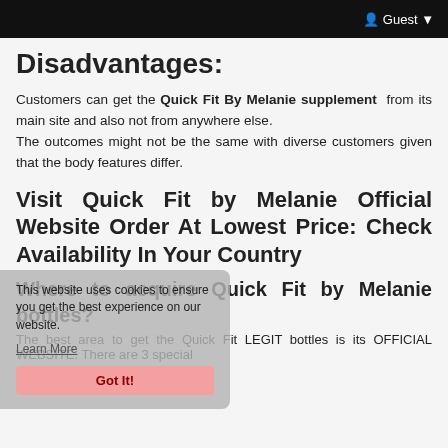Guest
Disadvantages:
Customers can get the Quick Fit By Melanie supplement from its main site and also not from anywhere else.
The outcomes might not be the same with diverse customers given that the body features differ.
Visit Quick Fit by Melanie Official Website Order At Lowest Price: Check Availability In Your Country
Where to acquire Quick Fit by Melanie bottles?
The best area to get the Quick Fit LEGIT bottles is its OFFICIAL WEBSITE. There are 3 special
This website uses cookies to ensure you get the best experience on our website.
Learn More
Got It!